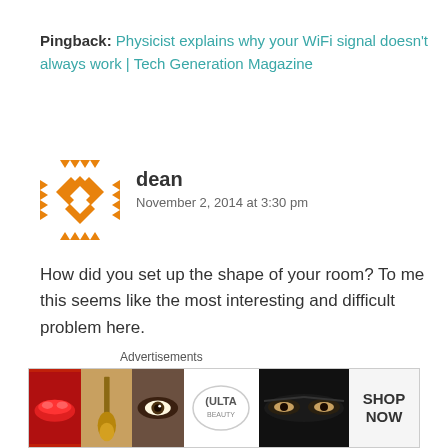Pingback: Physicist explains why your WiFi signal doesn't always work | Tech Generation Magazine
[Figure (illustration): Orange and white geometric mosaic avatar icon for user 'dean']
dean
November 2, 2014 at 3:30 pm
How did you set up the shape of your room? To me this seems like the most interesting and difficult problem here.
Like
Reply
Advertisements
[Figure (photo): Beauty advertisement banner showing lips, makeup brush, eye with makeup, Ulta Beauty logo, eyes closeup, and SHOP NOW text]